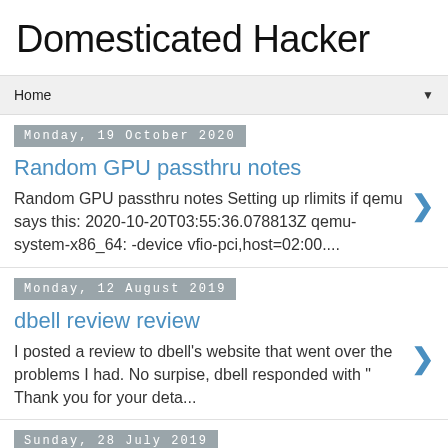Domesticated Hacker
Home ▼
Monday, 19 October 2020
Random GPU passthru notes
Random GPU passthru notes Setting up rlimits if qemu says this: 2020-10-20T03:55:36.078813Z qemu-system-x86_64: -device vfio-pci,host=02:00....
Monday, 12 August 2019
dbell review review
I posted a review to dbell's website that went over the problems I had.  No surpise, dbell responded with " Thank you for your deta...
Sunday, 28 July 2019